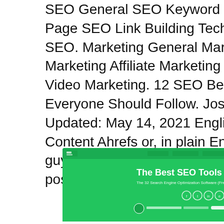SEO General SEO Keyword Research On-Page SEO Link Building Technical SEO Local SEO. Marketing General Marketing Content Marketing Affiliate Marketing Paid Marketing Video Marketing. 12 SEO Best Practices That Everyone Should Follow. Joshua Hardwick Updated: May 14, 2021 English. Head of Content Ahrefs or, in plain English, I'm' the guy responsible for ensuring that every blog post we publish is EPIC.
[Figure (screenshot): Screenshot of a webpage showing 'The Best SEO Tools 2021' with green header and a breadcrumb navigation below, and a partial view of a second section with blue background showing 'Software Tools' and 'The Bes...' text]